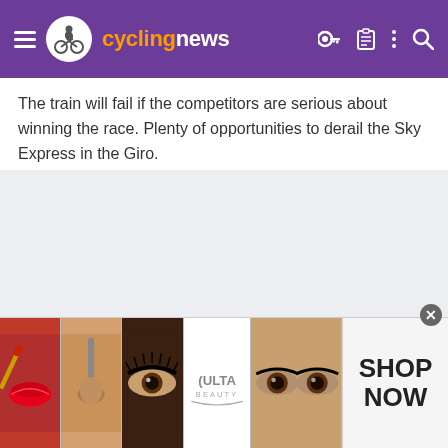cyclingnews
The train will fail if the competitors are serious about winning the race. Plenty of opportunities to derail the Sky Express in the Giro.
[Figure (photo): Advertisement banner showing beauty/makeup images with ULTA Beauty logo and SHOP NOW text]